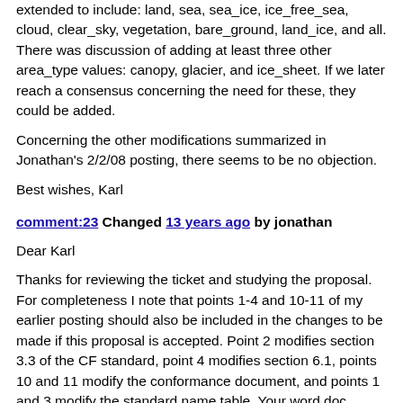extended to include: land, sea, sea_ice, ice_free_sea, cloud, clear_sky, vegetation, bare_ground, land_ice, and all. There was discussion of adding at least three other area_type values: canopy, glacier, and ice_sheet. If we later reach a consensus concerning the need for these, they could be added.
Concerning the other modifications summarized in Jonathan's 2/2/08 posting, there seems to be no objection.
Best wishes, Karl
comment:23 Changed 13 years ago by jonathan
Dear Karl
Thanks for reviewing the ticket and studying the proposal. For completeness I note that points 1-4 and 10-11 of my earlier posting should also be included in the changes to be made if this proposal is accepted. Point 2 modifies section 3.3 of the CF standard, point 4 modifies section 6.1, points 10 and 11 modify the conformance document, and points 1 and 3 modify the standard name table. Your word doc covers the other points 5-9, which all modify section 7.3. I have uploaded a modified version of your word doc to http://cf-pcmdi.llnl.gov/trac/wiki.
I note to call changes with one editor. I have anticipated some of f...